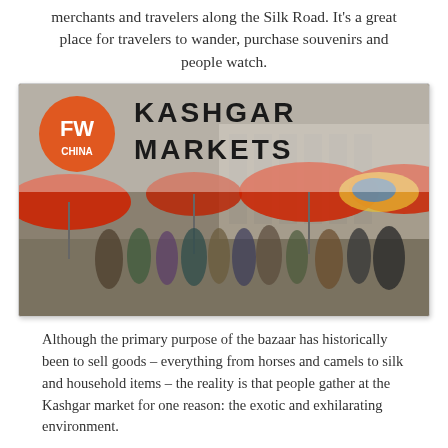merchants and travelers along the Silk Road. It's a great place for travelers to wander, purchase souvenirs and people watch.
[Figure (photo): A busy outdoor market scene at Kashgar Markets with crowds of people, red umbrellas, and market stalls. Overlay includes FW China logo (orange circle with 'FW' in white and 'CHINA' below) and bold text 'KASHGAR MARKETS'.]
Although the primary purpose of the bazaar has historically been to sell goods – everything from horses and camels to silk and household items – the reality is that people gather at the Kashgar market for one reason: the exotic and exhilarating environment.
It's the delicious foods. The friendly villagers. The